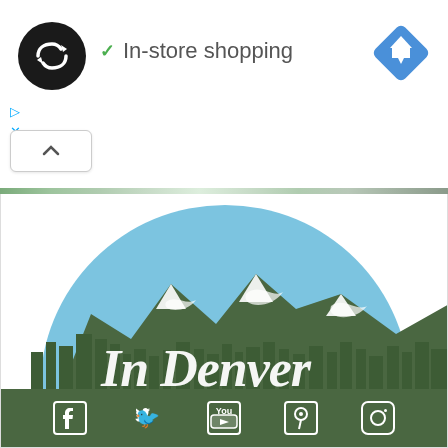[Figure (logo): Black circular logo with infinity-style double arrow symbol]
✓ In-store shopping
[Figure (logo): Blue diamond-shaped navigation/directions icon with white arrow]
[Figure (logo): In Denver city logo with skyline, mountains, blue sky semicircle, and script text 'In Denver']
[Figure (logo): Social media icons bar: Facebook, Twitter, YouTube, Pinterest, Instagram in white on dark green background]